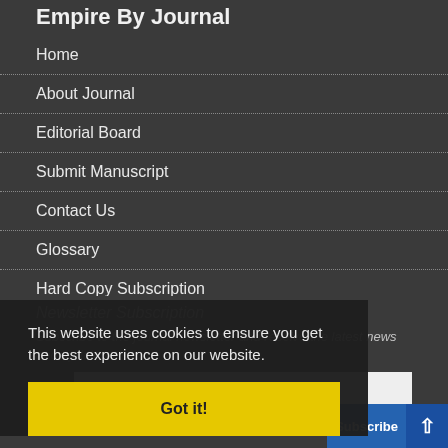Empire By Journal
Home
About Journal
Editorial Board
Submit Manuscript
Contact Us
Glossary
Hard Copy Subscription
Sitemap
Latest News
Newsletter Subscription
Subscribe to the journal newsletter and receive the latest news and updates
This website uses cookies to ensure you get the best experience on our website.
Got it!